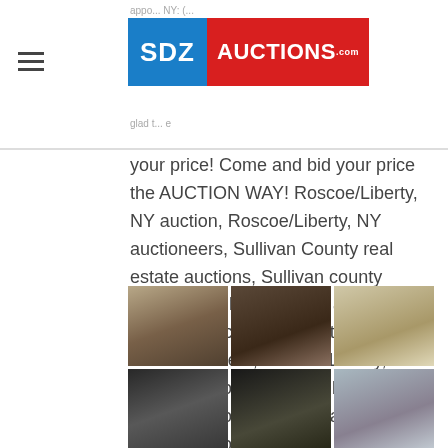SDZ AUCTIONS.com
your price! Come and bid your price the AUCTION WAY! Roscoe/Liberty, NY auction, Roscoe/Liberty, NY auctioneers, Sullivan County real estate auctions, Sullivan county auctions, Sullivan county auctioneers, NY state auctioneers, Catskill region, NY auctioneers, Roscoe/Liberty, NY estate auction, Roscoe/Liberty, NY estate auctioneers, Sullivan county estate auctioneers.
[Figure (photo): Grid of 6 auction item photos showing interior rooms, a fireplace with brick surround, old electronics/appliances, vintage televisions, and boxes of items.]